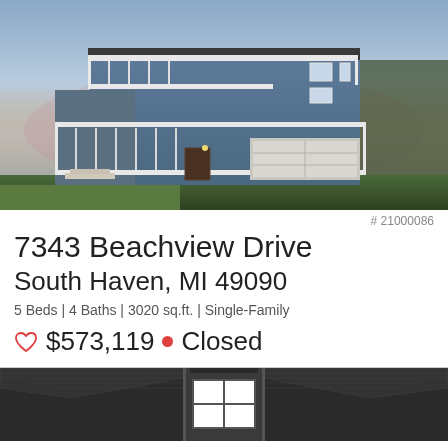[Figure (photo): Exterior photo of a three-story blue coastal home with white railings, balconies, and a two-car garage, set against a dusk sky with trees in the background.]
# 21000086
7343 Beachview Drive
South Haven, MI 49090
5 Beds | 4 Baths | 3020 sq.ft. | Single-Family
♡ $573,119 • Closed
[Figure (illustration): Dark aerial/overhead floor plan schematic view of the house roof, showing dark gray roof sections and a garage door with window panels.]